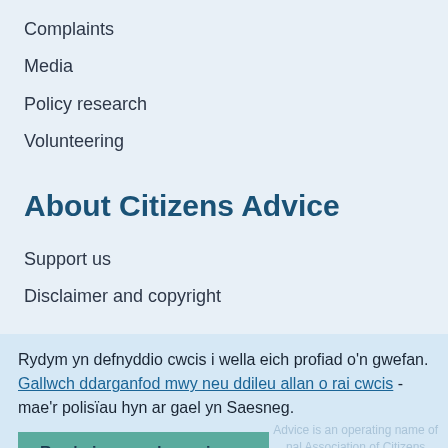Complaints
Media
Policy research
Volunteering
About Citizens Advice
Support us
Disclaimer and copyright
Rydym yn defnyddio cwcis i wella eich profiad o'n gwefan. Gallwch ddarganfod mwy neu ddileu allan o rai cwcis - mae'r polisïau hyn ar gael yn Saesneg.
Rwy'n iawn gyda cwcis ×